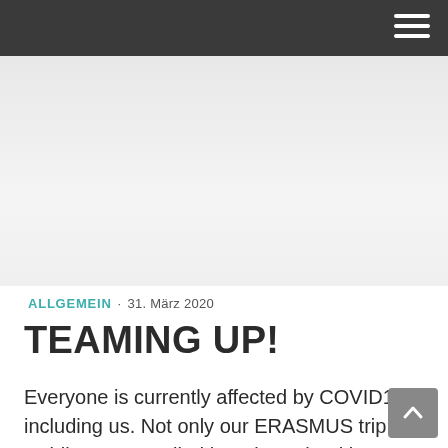[Figure (photo): Hero image area with light grey gradient background, likely a banner photo area for a blog/website]
ALLGEMEIN · 31. März 2020
TEAMING UP!
Everyone is currently affected by COVID19 – including us. Not only our ERASMUS trip to Dublin got cancelled but also school is closed for the following 3 weeks. We were all incredibly at the last first day so it…